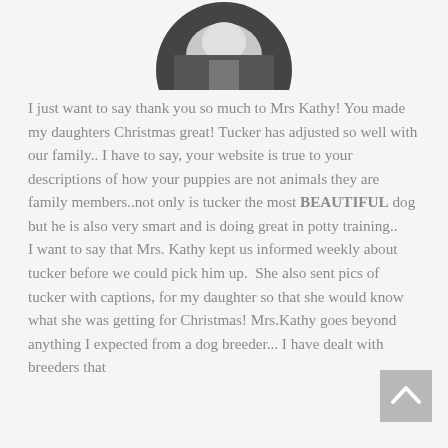[Figure (photo): Circular cropped profile photo of a dog (white/light colored) in a dark background, partially visible at the top of the page]
I just want to say thank you so much to Mrs Kathy! You made my daughters Christmas great! Tucker has adjusted so well with our family.. I have to say, your website is true to your descriptions of how your puppies are not animals they are family members..not only is tucker the most BEAUTIFUL dog but he is also very smart and is doing great in potty training.. I want to say that Mrs. Kathy kept us informed weekly about tucker before we could pick him up.  She also sent pics of tucker with captions, for my daughter so that she would know what she was getting for Christmas! Mrs.Kathy goes beyond anything I expected from a dog breeder... I have dealt with breeders that